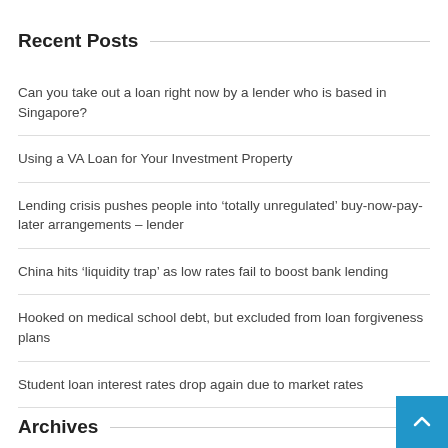Recent Posts
Can you take out a loan right now by a lender who is based in Singapore?
Using a VA Loan for Your Investment Property
Lending crisis pushes people into ‘totally unregulated’ buy-now-pay-later arrangements – lender
China hits ‘liquidity trap’ as low rates fail to boost bank lending
Hooked on medical school debt, but excluded from loan forgiveness plans
Student loan interest rates drop again due to market rates
Archives